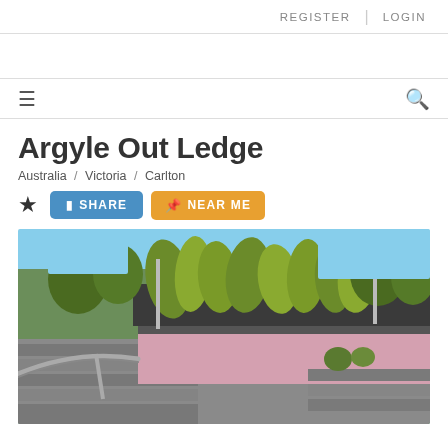REGISTER | LOGIN
Argyle Out Ledge
Australia / Victoria / Carlton
[Figure (photo): Outdoor skate spot showing pink concrete ledges and stairs with metal handrail, green plants/shrubs in raised planters behind, and trees in background under blue sky.]